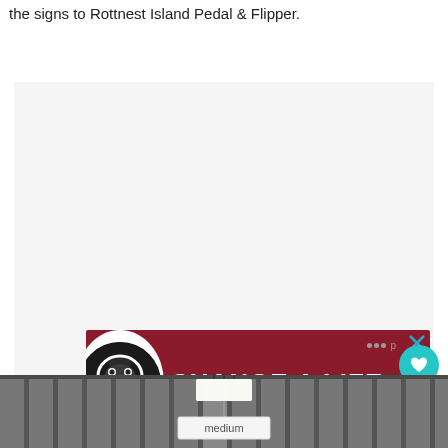the signs to Rottnest Island Pedal & Flipper.
[Figure (photo): Advertisement banner with dark red/maroon background showing a black dog and text 'CHANGE A LIFE' in large white bold letters, with a close (X) button at top right and a heart icon.]
[Figure (photo): Bottom photo showing the interior ceiling of a large shed or warehouse with corrugated metal roof and fluorescent lighting. A white sign hanging from ceiling reads 'medium'.]